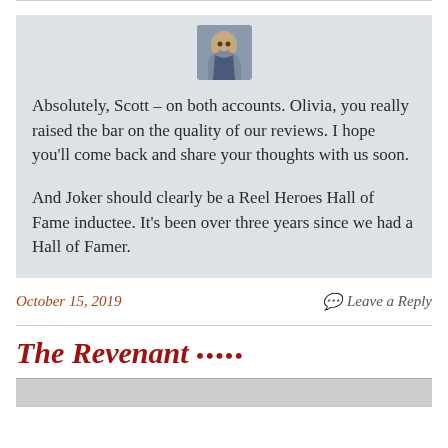[Figure (photo): Avatar/profile photo of a man, centered at top of comment block]
Absolutely, Scott – on both accounts. Olivia, you really raised the bar on the quality of our reviews. I hope you'll come back and share your thoughts with us soon.

And Joker should clearly be a Reel Heroes Hall of Fame inductee. It's been over three years since we had a Hall of Famer.
October 15, 2019
Leave a Reply
The Revenant •••••